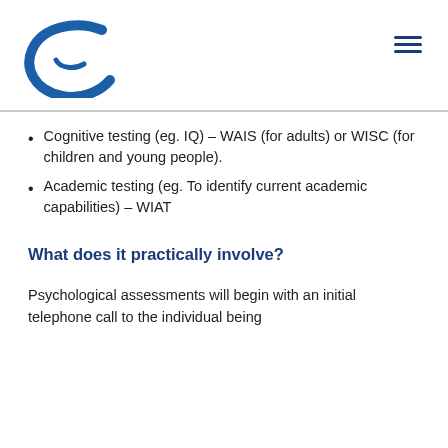[Figure (logo): CatholicCare Canberra & Goulburn logo with blue stylized C mark]
Cognitive testing (eg. IQ) – WAIS (for adults) or WISC (for children and young people).
Academic testing (eg. To identify current academic capabilities) – WIAT
What does it practically involve?
Psychological assessments will begin with an initial telephone call to the individual being